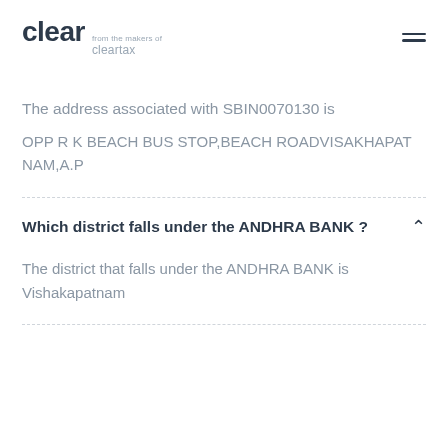clear from the makers of cleartax
The address associated with SBIN0070130 is
OPP R K BEACH BUS STOP,BEACH ROADVISAKHAPAT NAM,A.P
Which district falls under the ANDHRA BANK ?
The district that falls under the ANDHRA BANK is Vishakapatnam